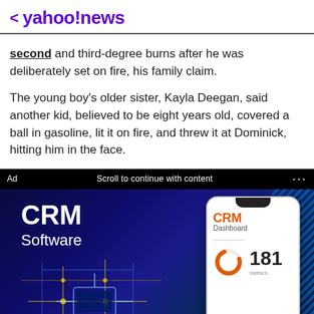< yahoo!news
second and third-degree burns after he was deliberately set on fire, his family claim.
The young boy's older sister, Kayla Deegan, said another kid, believed to be eight years old, covered a ball in gasoline, lit it on fire, and threw it at Dominick, hitting him in the face.
[Figure (screenshot): Advertisement for CRM Software showing a tech-themed banner with circuit board graphics, a phone mockup displaying a CRM Dashboard with the number 181, and a call-to-action overlay reading 'Click Your STATE to claim FREE Trial'. Ad label and 'Scroll to continue with content' text visible.]